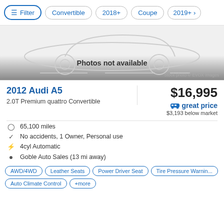Filter | Convertible | 2018+ | Coupe | 2019+ >
[Figure (illustration): Car silhouette placeholder image with 'Photos not available' text and 'Stock photo © EVOX Images' credit]
2012 Audi A5
2.0T Premium quattro Convertible
$16,995
great price
$3,193 below market
65,100 miles
No accidents, 1 Owner, Personal use
4cyl Automatic
Goble Auto Sales (13 mi away)
AWD/4WD  Leather Seats  Power Driver Seat  Tire Pressure Warnin...  Auto Climate Control  +more